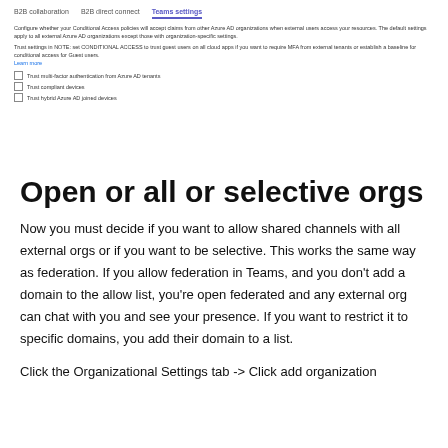[Figure (screenshot): Azure AD external collaboration settings UI screenshot showing tabs: B2B collaboration, B2B direct connect, Teams settings (active). Contains small text blocks about configuring Conditional Access policies and compliance settings, with three checkboxes: Trust multi-factor authentication from Azure AD tenants, Trust compliant devices, Trust hybrid Azure AD joined devices.]
Open or all or selective orgs
Now you must decide if you want to allow shared channels with all external orgs or if you want to be selective. This works the same way as federation. If you allow federation in Teams, and you don't add a domain to the allow list, you're open federated and any external org can chat with you and see your presence. If you want to restrict it to specific domains, you add their domain to a list.
Click the Organizational Settings tab -> Click add organization